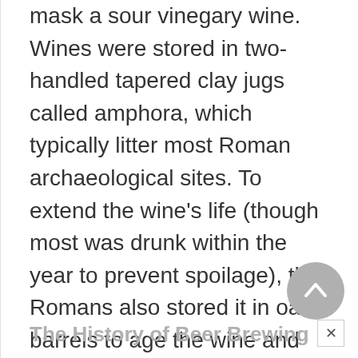mask a sour vinegary wine. Wines were stored in two-handled tapered clay jugs called amphora, which typically litter most Roman archaeological sites. To extend the wine's life (though most was drunk within the year to prevent spoilage), the Romans also stored it in oak barrels to age the wine and give it added flavor.
The History of Beer Brewing